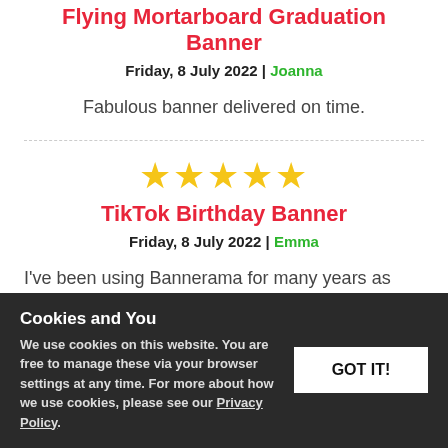Flying Mortarboard Graduation Banner
Friday, 8 July 2022 | Joanna
Fabulous banner delivered on time.
[Figure (other): Five gold star rating]
TikTok Birthday Banner
Friday, 8 July 2022 | Emma
I've been using Bannerama for many years as they provide great customer service and outstanding banners. I would highly recommend them!
Cookies and You
We use cookies on this website. You are free to manage these via your browser settings at any time. For more about how we use cookies, please see our Privacy Policy.